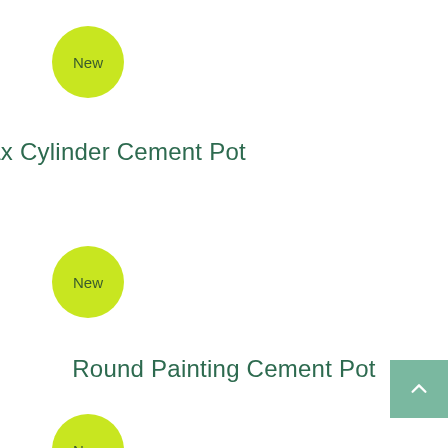[Figure (other): Yellow-green circular badge with text 'New' at top left]
Grey-Wax Cylinder Cement Pot
[Figure (other): Yellow-green circular badge with text 'New' in middle left]
Round Painting Cement Pot
[Figure (other): Teal back-to-top button with upward chevron arrow at bottom right]
[Figure (other): Yellow-green circular badge partially visible at bottom left edge]